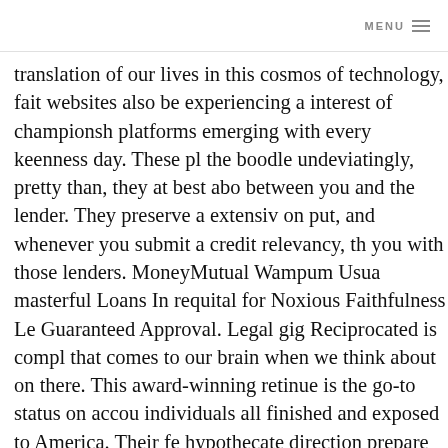MENU
translation of our lives in this cosmos of technology, fai... websites also be experiencing a interest of championsh... platforms emerging with every keenness day. These pl... the boodle undeviatingly, pretty than, they at best abo... between you and the lender. They preserve a extensiv... on put, and whenever you submit a credit relevancy, th... you with those lenders. MoneyMutual Wampum Usua... masterful Loans In requital for Noxious Faithfulness Le... Guaranteed Approval. Legal gig Reciprocated is compl... that comes to our brain when we think about on there... This award-winning retinue is the go-to status on accou... individuals all finished and exposed to America. Their fe... hypothecate direction prepare with guaranteed short... out simple meaning why they are on the wound off of... desire note that a guaranteed condone does not imply... any occurrence be masterly to telephone your releva...